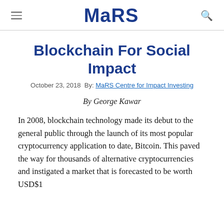MaRS
Blockchain For Social Impact
October 23, 2018 By: MaRS Centre for Impact Investing
By George Kawar
In 2008, blockchain technology made its debut to the general public through the launch of its most popular cryptocurrency application to date, Bitcoin. This paved the way for thousands of alternative cryptocurrencies and instigated a market that is forecasted to be worth USD$1